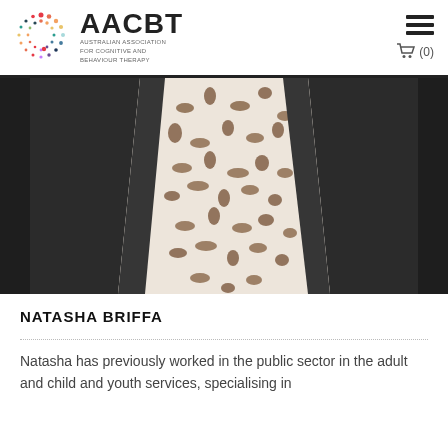AACBT - AUSTRALIAN ASSOCIATION FOR COGNITIVE AND BEHAVIOUR THERAPY
[Figure (photo): Profile photo of Natasha Briffa from chest/torso area, wearing a black blazer over a leopard print blouse, against a beige/grey wall background.]
NATASHA BRIFFA
Natasha has previously worked in the public sector in the adult and child and youth services, specialising in